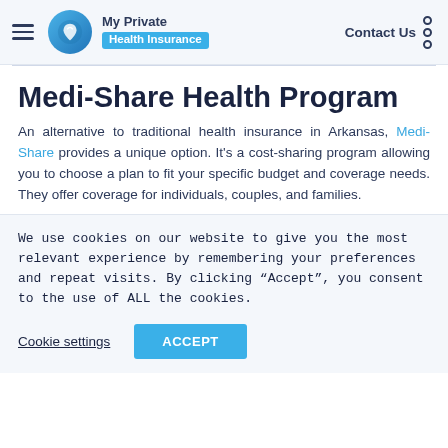My Private Health Insurance — Contact Us
Medi-Share Health Program
An alternative to traditional health insurance in Arkansas, Medi-Share provides a unique option. It's a cost-sharing program allowing you to choose a plan to fit your specific budget and coverage needs. They offer coverage for individuals, couples, and families.
We use cookies on our website to give you the most relevant experience by remembering your preferences and repeat visits. By clicking "Accept", you consent to the use of ALL the cookies.
Cookie settings | ACCEPT